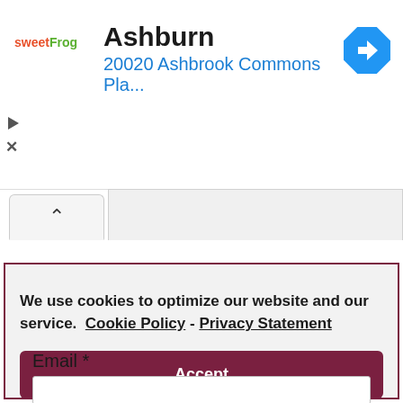[Figure (screenshot): SweetFrog logo with colorful text]
Ashburn
20020 Ashbrook Commons Pla...
[Figure (other): Blue navigation diamond arrow icon]
We use cookies to optimize our website and our service.  Cookie Policy -  Privacy Statement
Accept
Email *